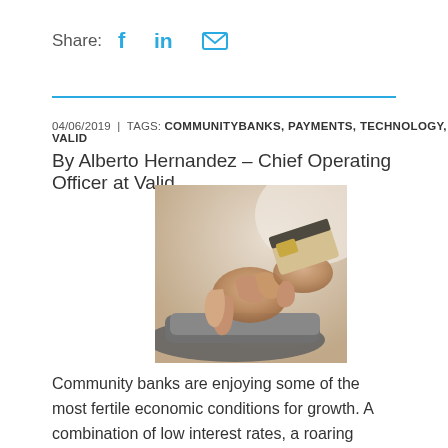Share: [Facebook] [LinkedIn] [Email]
04/06/2019  |  TAGS: COMMUNITYBANKS, PAYMENTS, TECHNOLOGY, VALID
By Alberto Hernandez – Chief Operating Officer at Valid
[Figure (photo): Hands using a tablet device while holding a credit card]
Community banks are enjoying some of the most fertile economic conditions for growth. A combination of low interest rates, a roaring economy and loosened regulations in recent years have come together to create optimal conditions for all banking institutions to